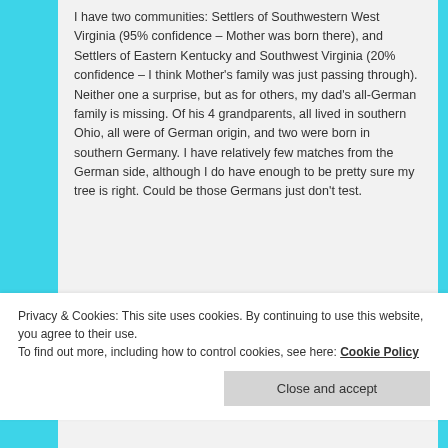I have two communities: Settlers of Southwestern West Virginia (95% confidence – Mother was born there), and Settlers of Eastern Kentucky and Southwest Virginia (20% confidence – I think Mother's family was just passing through). Neither one a surprise, but as for others, my dad's all-German family is missing. Of his 4 grandparents, all lived in southern Ohio, all were of German origin, and two were born in southern Germany. I have relatively few matches from the German side, although I do have enough to be pretty sure my tree is right. Could be those Germans just don't test.
Privacy & Cookies: This site uses cookies. By continuing to use this website, you agree to their use. To find out more, including how to control cookies, see here: Cookie Policy